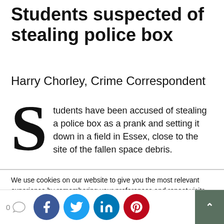Students suspected of stealing police box
Harry Chorley, Crime Correspondent
Students have been accused of stealing a police box as a prank and setting it down in a field in Essex, close to the site of the fallen space debris.
We use cookies on our website to give you the most relevant experience by remembering your preferences and repeat visits. By clicking “Accept”, you consent to the use of ALL the cookies.
Do not sell my personal information.